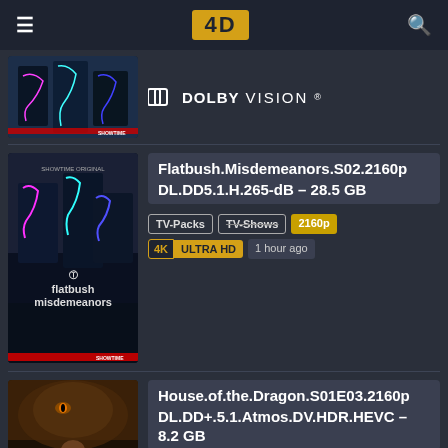4D [logo header with hamburger menu and search icon]
[Figure (screenshot): Partial thumbnail of Flatbush Misdemeanors Showtime show poster (top portion cut off)]
DOLBY VISION
[Figure (screenshot): Thumbnail of Flatbush Misdemeanors Showtime show poster - full view with neon-lit street scene]
Flatbush.Misdemeanors.S02.2160p DL.DD5.1.H.265-dB – 28.5 GB
TV-Packs
TV-Shows
2160p
4K ULTRA HD
1 hour ago
[Figure (screenshot): Partial thumbnail of House of the Dragon show - dragon creature visible]
House.of.the.Dragon.S01E03.2160p DL.DD+.5.1.Atmos.DV.HDR.HEVC – 8.2 GB